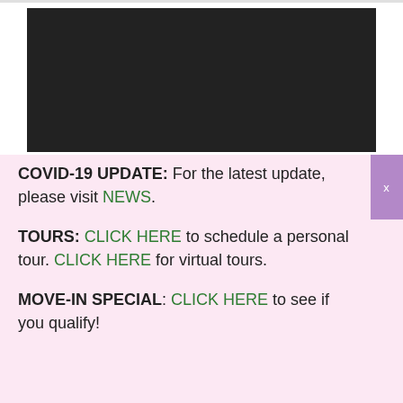[Figure (photo): Dark/black rectangular banner image area at the top of the page]
COVID-19 UPDATE: For the latest update, please visit NEWS.
TOURS: CLICK HERE to schedule a personal tour. CLICK HERE for virtual tours.
MOVE-IN SPECIAL: CLICK HERE to see if you qualify!